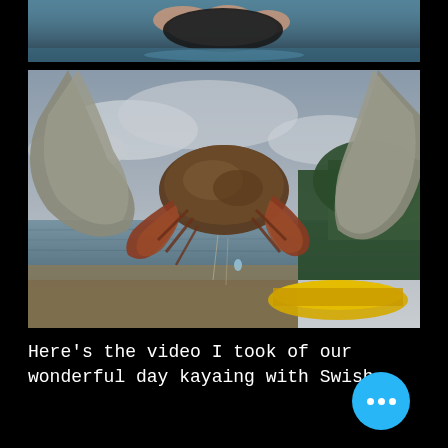[Figure (photo): Partial photo at top showing hands holding a dark crab or sea creature near water, cropped]
[Figure (photo): Close-up photo of a hermit crab in a shell held up against a background showing a lake or bay with trees, cloudy sky, and a yellow kayak visible in the lower right]
Here's the video I took of our wonderful day kayaing with Swish